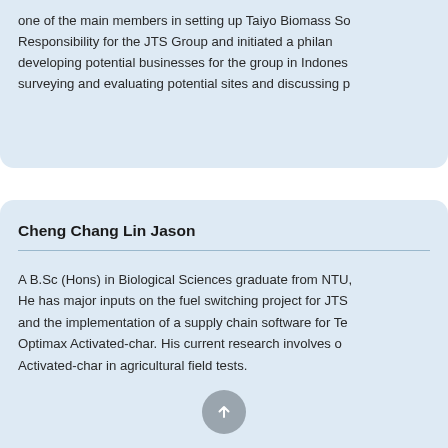one of the main members in setting up Taiyo Biomass So Responsibility for the JTS Group and initiated a philan developing potential businesses for the group in Indones surveying and evaluating potential sites and discussing p
Cheng Chang Lin Jason
A B.Sc (Hons) in Biological Sciences graduate from NTU, He has major inputs on the fuel switching project for JTS and the implementation of a supply chain software for Te Optimax Activated-char. His current research involves o Activated-char in agricultural field tests.